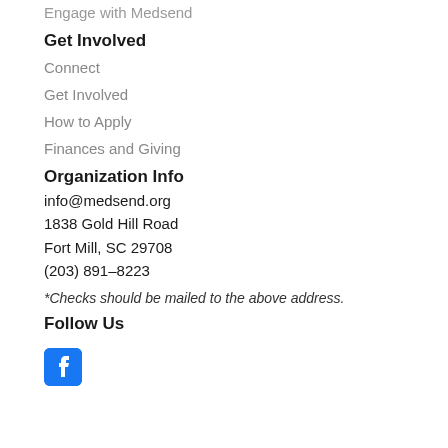Engage with Medsend
Get Involved
Connect
Get Involved
How to Apply
Finances and Giving
Organization Info
info@medsend.org
1838 Gold Hill Road
Fort Mill, SC 29708
(203) 891–8223
*Checks should be mailed to the above address.
Follow Us
[Figure (logo): Facebook logo icon — blue square with white 'f']